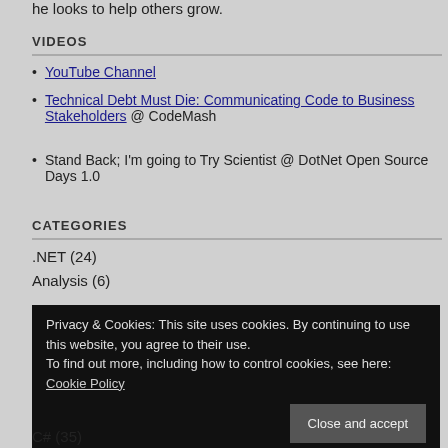he looks to help others grow.
VIDEOS
YouTube Channel
Technical Debt Must Die: Communicating Code to Business Stakeholders @ CodeMash
Stand Back; I'm going to Try Scientist @ DotNet Open Source Days 1.0
CATEGORIES
.NET (24)
Analysis (6)
Privacy & Cookies: This site uses cookies. By continuing to use this website, you agree to their use. To find out more, including how to control cookies, see here: Cookie Policy
C# (35)